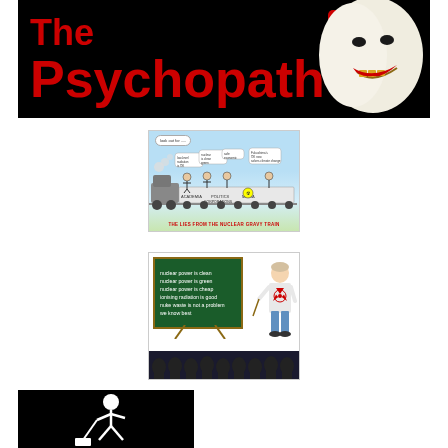[Figure (illustration): YouTube video thumbnail with black background, large red bold text reading 'The Psychopath', a YouTube play button icon in upper center, and a white theatrical mask face with red lips on the right side.]
[Figure (illustration): Cartoon showing a nuclear gravy train with characters labeled ACADEMIA, POLITICS, CORPORATIONS, MEDIA making pro-nuclear claims in speech bubbles. Caption reads 'THE LIES FROM THE NUCLEAR GRAVY TRAIN'.]
[Figure (illustration): Cartoon showing a professor/scientist at a green blackboard listing pro-nuclear claims: 'nuclear power is clean, nuclear power is green, nuclear power is cheap, ionising radiation is good, nuke waste is not a problem, we know best'. Audience silhouettes in foreground.]
[Figure (illustration): Black background image showing a white stick figure digging or working, with a shovel, on a black background.]